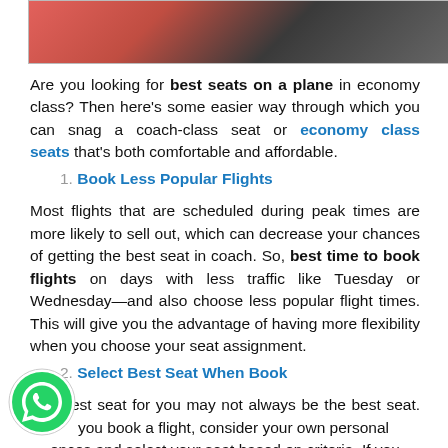[Figure (photo): Partial photo of airplane cabin with red seat visible at top of page]
Are you looking for best seats on a plane in economy class? Then here's some easier way through which you can snag a coach-class seat or economy class seats that's both comfortable and affordable.
1. Book Less Popular Flights
Most flights that are scheduled during peak times are more likely to sell out, which can decrease your chances of getting the best seat in coach. So, best time to book flights on days with less traffic like Tuesday or Wednesday—and also choose less popular flight times. This will give you the advantage of having more flexibility when you choose your seat assignment.
2. Select Best Seat When Book
The best seat for you may not always be the best seat. When you book a flight, consider your own personal preferences and select your seat based on criteria. If you like to have an empty seat next to you, then choose a seat